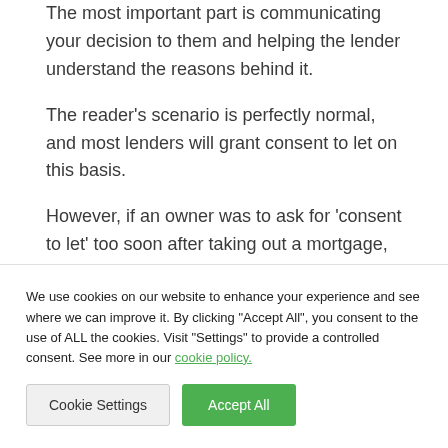The most important part is communicating your decision to them and helping the lender understand the reasons behind it.
The reader's scenario is perfectly normal, and most lenders will grant consent to let on this basis.
However, if an owner was to ask for 'consent to let' too soon after taking out a mortgage, or just after having bought a property, lenders may view
We use cookies on our website to enhance your experience and see where we can improve it. By clicking "Accept All", you consent to the use of ALL the cookies. Visit "Settings" to provide a controlled consent. See more in our cookie policy.